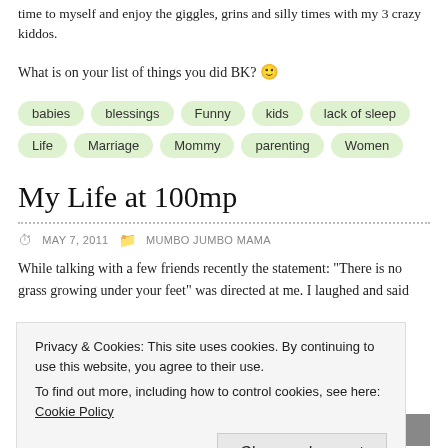time to myself and enjoy the giggles, grins and silly times with my 3 crazy kiddos.
What is on your list of things you did BK? 🙂
babies, blessings, Funny, kids, lack of sleep, Life, Marriage, Mommy, parenting, Women
My Life at 100mp
MAY 7, 2011 · MUMBO JUMBO MAMA
While talking with a few friends recently the statement: "There is no grass growing under your feet" was directed at me. I laughed and said
Privacy & Cookies: This site uses cookies. By continuing to use this website, you agree to their use. To find out more, including how to control cookies, see here: Cookie Policy. Close and accept
our lives (or at least our life together) at
[Figure (photo): Small thumbnail image in the bottom right corner]